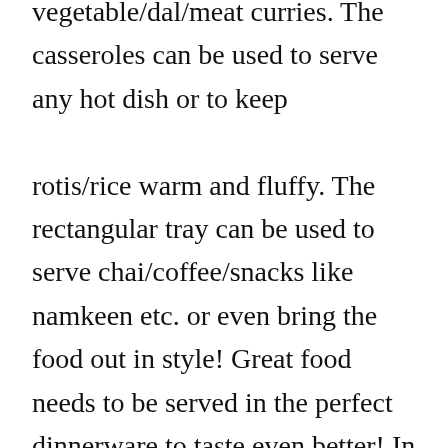vegetable/dal/meat curries. The casseroles can be used to serve any hot dish or to keep rotis/rice warm and fluffy. The rectangular tray can be used to serve chai/coffee/snacks like namkeen etc. or even bring the food out in style! Great food needs to be served in the perfect dinnerware to taste even better! In Venice, the dining set of 31 pieces, are made with food grade melamine and will enhance your dining experience. Once again, the dinner set is available in Delicate Red Floral & Gorgeous Blue Tile designs. With a mix of dinner and quarter plates, veg and soup bowls,